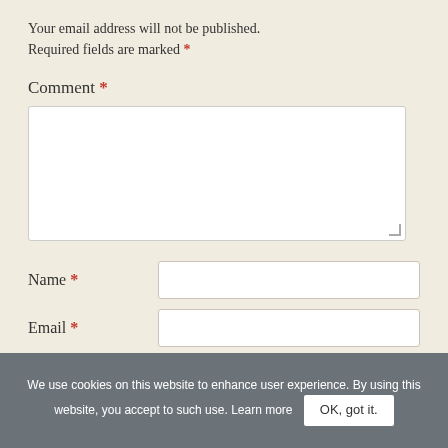Your email address will not be published. Required fields are marked *
Comment *
Name *
Email *
Website
Solve Captcha*
We use cookies on this website to enhance user experience. By using this website, you accept to such use. Learn more  OK, got it.